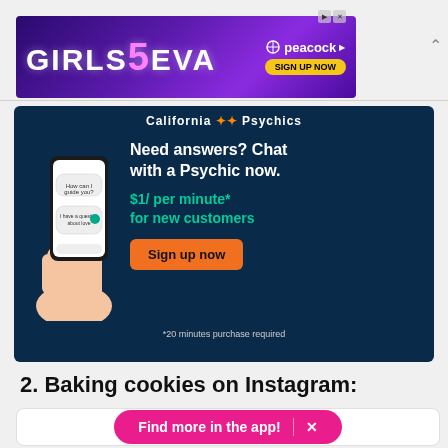[Figure (screenshot): Girls5Eva advertisement banner for Peacock streaming service with purple gradient background, 'SIGN UP NOW' button]
[Figure (screenshot): California Psychics advertisement: 'Need answers? Chat with a Psychic now. $1/ per minute* for new customers. Sign up now. *20 minutes purchase required']
2. Baking cookies on Instagram:
[Figure (screenshot): Bottom card with pink 'Find more in the app!' button with X close icon]